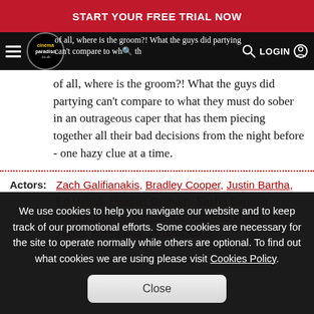START YOUR FREE TRIAL NOW
[Figure (logo): Cinema Paradiso logo with navigation bar]
of all, where is the groom?! What the guys did partying can't compare to what they must do sober in an outrageous caper that has them piecing together all their bad decisions from the night before - one hazy clue at a time.
Actors: Zach Galifianakis, Bradley Cooper, Justin Bartha, Ed Helms, Heather Graham, Sasha Barrese, Jeffrey Tambor, Ken Jeong, Rachael Harris, Mike Tyson, Mike Epps, Jernard Burks,
We use cookies to help you navigate our website and to keep track of our promotional efforts. Some cookies are necessary for the site to operate normally while others are optional. To find out what cookies we are using please visit Cookies Policy.
Close